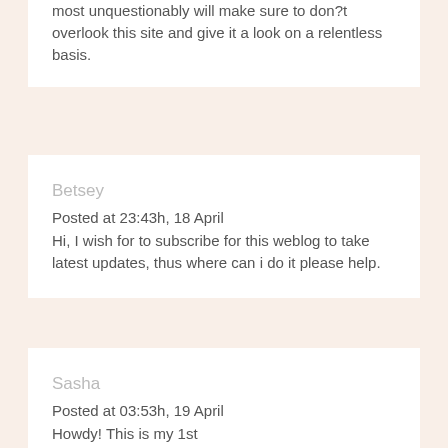most unquestionably will make sure to don?t overlook this site and give it a look on a relentless basis.
Betsey
Posted at 23:43h, 18 April
Hi, I wish for to subscribe for this weblog to take latest updates, thus where can i do it please help.
Sasha
Posted at 03:53h, 19 April
Howdy! This is my 1st